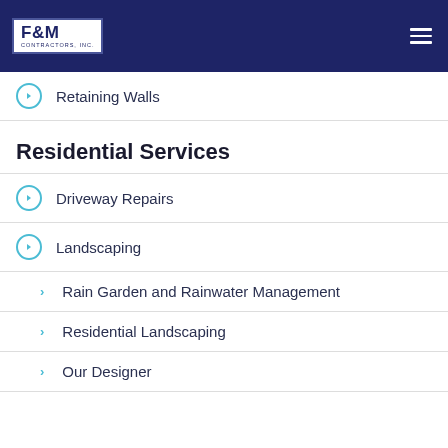F&M Contractors, Inc. — Navigation bar
Retaining Walls
Residential Services
Driveway Repairs
Landscaping
Rain Garden and Rainwater Management
Residential Landscaping
Our Designer